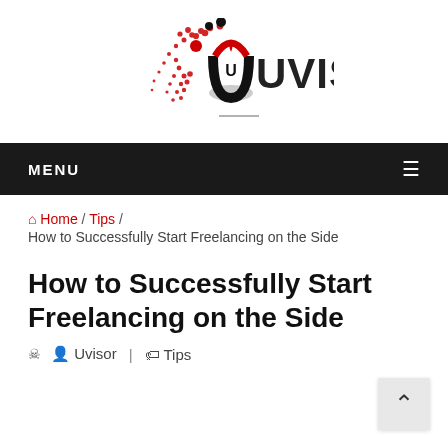[Figure (logo): Uvisor logo with red and black circular icon and dot pattern, text 'UVISOR' in bold with red drop above the I]
MENU ≡
Home / Tips / How to Successfully Start Freelancing on the Side
How to Successfully Start Freelancing on the Side
Uvisor | Tips